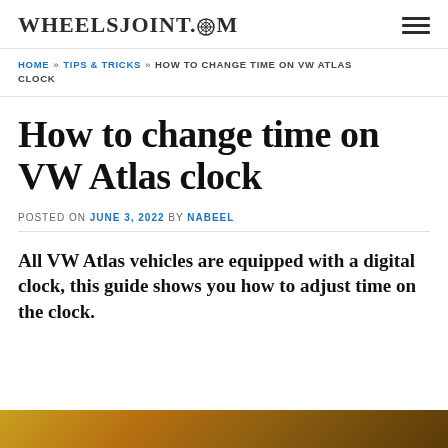WHEELSJOINT.COM
HOME » TIPS & TRICKS » HOW TO CHANGE TIME ON VW ATLAS CLOCK
How to change time on VW Atlas clock
POSTED ON JUNE 3, 2022 BY NABEEL
All VW Atlas vehicles are equipped with a digital clock, this guide shows you how to adjust time on the clock.
[Figure (photo): Bottom strip of an image visible at the bottom of the page, showing warm golden/brown tones consistent with a vehicle interior or exterior photo.]